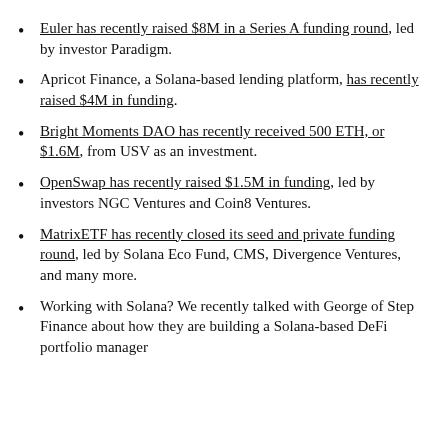Euler has recently raised $8M in a Series A funding round, led by investor Paradigm.
Apricot Finance, a Solana-based lending platform, has recently raised $4M in funding.
Bright Moments DAO has recently received 500 ETH, or $1.6M, from USV as an investment.
OpenSwap has recently raised $1.5M in funding, led by investors NGC Ventures and Coin8 Ventures.
MatrixETF has recently closed its seed and private funding round, led by Solana Eco Fund, CMS, Divergence Ventures, and many more.
Working with Solana? We recently talked with George of Step Finance about how they are building a Solana-based DeFi portfolio manager